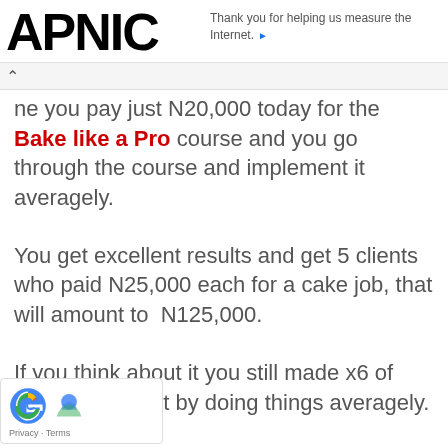APNIC — Thank you for helping us measure the Internet.
ne you pay just N20,000 today for the Bake like a Pro course and you go through the course and implement it averagely.
You get excellent results and get 5 clients who paid N25,000 each for a cake job, that will amount to N125,000.
If you think about it you still made x6 of your investment by doing things averagely.